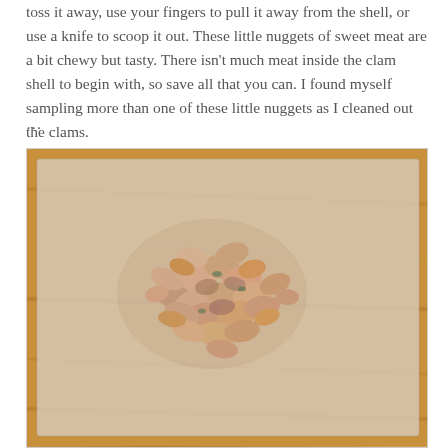toss it away, use your fingers to pull it away from the shell, or use a knife to scoop it out. These little nuggets of sweet meat are a bit chewy but tasty. There isn't much meat inside the clam shell to begin with, so save all that you can. I found myself sampling more than one of these little nuggets as I cleaned out the clams.
…
[Figure (photo): A pile of cleaned clam meat pieces arranged on a glass cutting board, which sits on a warm wood surface. The clam pieces are pinkish-beige and tan colored.]